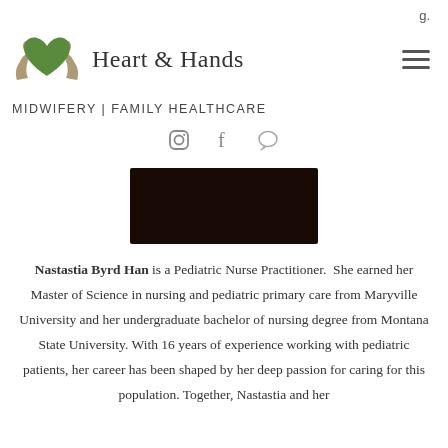g.
[Figure (logo): Heart & Hands logo with green heart and hands, and hamburger menu icon]
MIDWIFERY | FAMILY HEALTHCARE
[Figure (infographic): Social media icons: Instagram, Facebook, and chat/message icon]
[Figure (photo): Dark portrait photo of Nastastia Byrd Han]
Nastastia Byrd Han is a Pediatric Nurse Practitioner.  She earned her Master of Science in nursing and pediatric primary care from Maryville University and her undergraduate bachelor of nursing degree from Montana State University. With 16 years of experience working with pediatric patients, her career has been shaped by her deep passion for caring for this population. Together, Nastastia and her